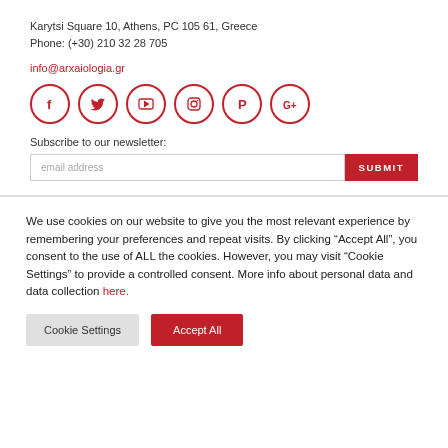Karytsi Square 10, Athens, PC 105 61, Greece
Phone: (+30) 210 32 28 705
info@arxaiologia.gr
[Figure (other): Row of 6 social media icons in red circles: Facebook, Twitter, YouTube, Instagram, Pinterest, Google+]
Subscribe to our newsletter:
email address  SUBMIT
We use cookies on our website to give you the most relevant experience by remembering your preferences and repeat visits. By clicking “Accept All”, you consent to the use of ALL the cookies. However, you may visit "Cookie Settings" to provide a controlled consent. More info about personal data and data collection here.
Cookie Settings  Accept All